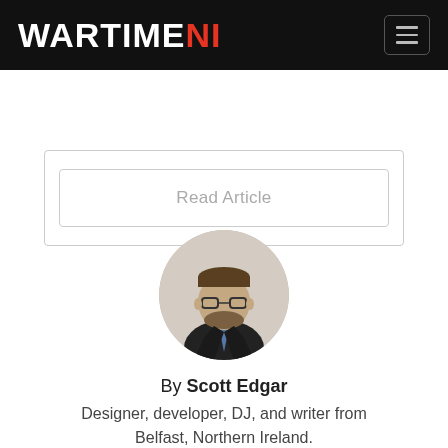WARTIMENI
Read Article
[Figure (photo): Circular profile photo of a man with glasses and a beard, wearing a dark suit and tie.]
By Scott Edgar
Designer, developer, DJ, and writer from Belfast, Northern Ireland.